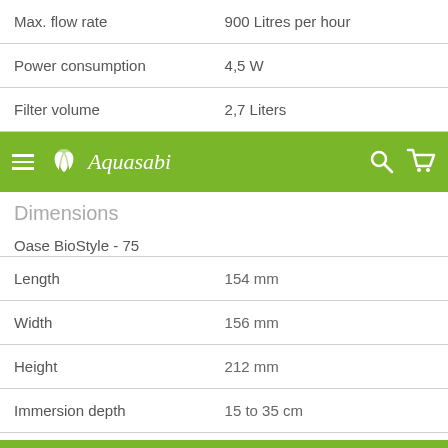| Property | Value |
| --- | --- |
| Max. flow rate | 900 Litres per hour |
| Power consumption | 4,5 W |
| Filter volume | 2,7 Liters |
[Figure (screenshot): Aquasabi website navigation bar with hamburger menu, logo, search icon, and cart icon on green background]
Dimensions
Oase BioStyle - 75
| Property | Value |
| --- | --- |
| Length | 154 mm |
| Width | 156 mm |
| Height | 212 mm |
| Immersion depth | 15 to 35 cm |
| Diameter inlet | 25 mm |
| Cable length | 1,5 m |